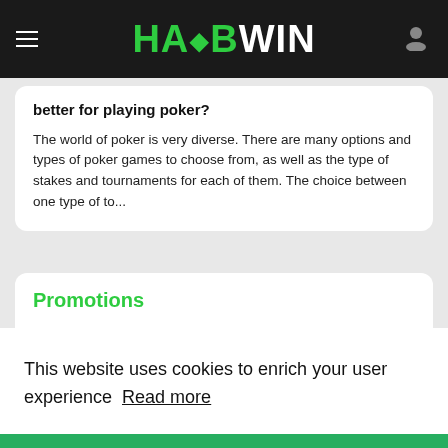HABWIN
better for playing poker?
The world of poker is very diverse. There are many options and types of poker games to choose from, as well as the type of stakes and tournaments for each of them. The choice between one type of to...
Promotions
[Figure (illustration): Red promotional banner image placeholder on left side of promotions card]
This website uses cookies to enrich your user experience  Read more
I agree